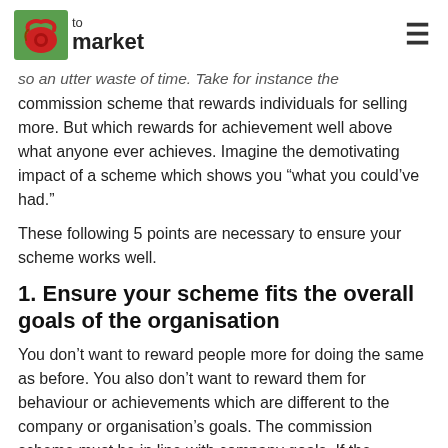to market
so an utter waste of time. Take for instance the commission scheme that rewards individuals for selling more. But which rewards for achievement well above what anyone ever achieves. Imagine the demotivating impact of a scheme which shows you “what you could’ve had.”
These following 5 points are necessary to ensure your scheme works well.
1. Ensure your scheme fits the overall goals of the organisation
You don’t want to reward people more for doing the same as before. You also don’t want to reward them for behaviour or achievements which are different to the company or organisation’s goals. The commission scheme must be in line with company goals. If the